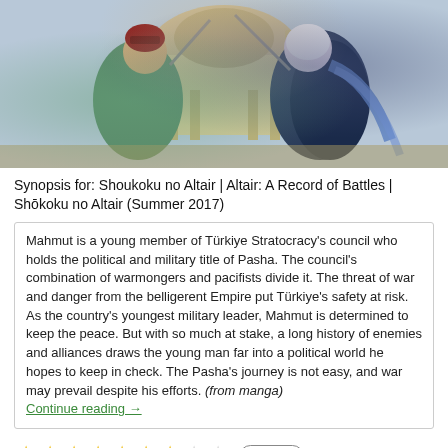[Figure (illustration): Anime illustration showing two characters from Shoukoku no Altair / Altair: A Record of Battles, standing in front of an Ottoman-style domed building. Left character wears green and gold ornate armor with a decorated helmet. Right character has white/silver hair and wears dark blue and white robes. Both hold weapons.]
Synopsis for: Shoukoku no Altair | Altair: A Record of Battles | Shōkoku no Altair (Summer 2017)
Mahmut is a young member of Türkiye Stratocracy's council who holds the political and military title of Pasha. The council's combination of warmongers and pacifists divide it. The threat of war and danger from the belligerent Empire put Türkiye's safety at risk. As the country's youngest military leader, Mahmut is determined to keep the peace. But with so much at stake, a long history of enemies and alliances draws the young man far into a political world he hopes to keep in check. The Pasha's journey is not easy, and war may prevail despite his efforts. (from manga)
Continue reading →
5 Votes